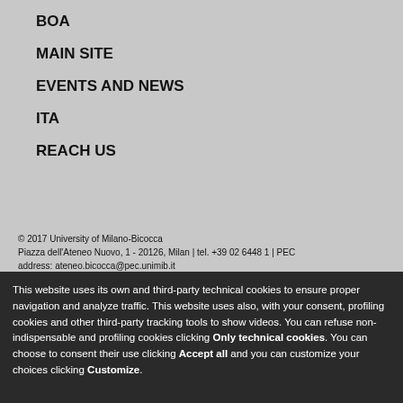BOA
MAIN SITE
EVENTS AND NEWS
ITA
REACH US
© 2017 University of Milano-Bicocca
Piazza dell'Ateneo Nuovo, 1 - 20126, Milan | tel. +39 02 6448 1 | PEC address: ateneo.bicocca@pec.unimib.it
This website uses its own and third-party technical cookies to ensure proper navigation and analyze traffic. This website uses also, with your consent, profiling cookies and other third-party tracking tools to show videos. You can refuse non-indispensable and profiling cookies clicking Only technical cookies. You can choose to consent their use clicking Accept all and you can customize your choices clicking Customize.